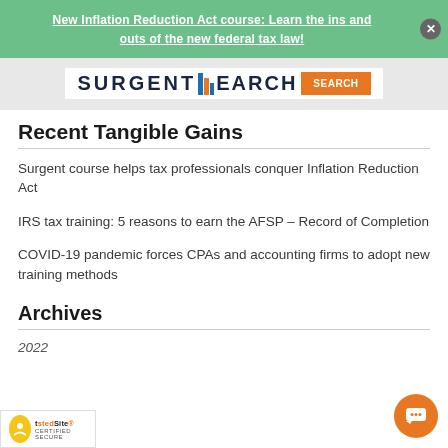New Inflation Reduction Act course: Learn the ins and outs of the new federal tax law!
[Figure (logo): Surgent logo with search bar]
Recent Tangible Gains
Surgent course helps tax professionals conquer Inflation Reduction Act
IRS tax training: 5 reasons to earn the AFSP – Record of Completion
COVID-19 pandemic forces CPAs and accounting firms to adopt new training methods
Archives
2022